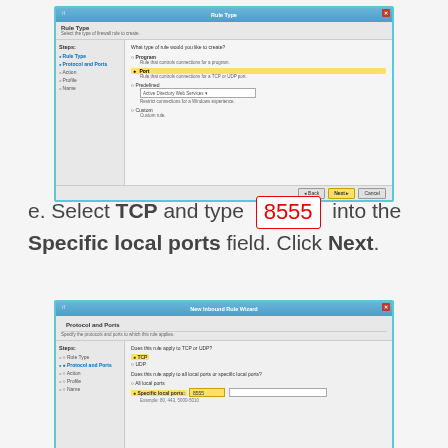[Figure (screenshot): Windows Firewall New Inbound Rule Wizard - Rule Type step. Left sidebar shows steps: Rule Type (active/highlighted in blue), Protocol and Ports, Action, Profile, Name. Right panel shows 'What type of rule would you like to create?' with radio options: Program, Port (selected/highlighted), Predefined (with dropdown), Custom. Bottom has Back, Next, Cancel buttons.]
e. Select TCP and type 8555 into the Specific local ports field. Click Next.
[Figure (screenshot): Windows Firewall New Inbound Rule Wizard - Protocol and Ports step. Left sidebar shows steps: Rule Type, Protocol and Ports (active), Action, Profile, Name. Right panel shows 'Does this rule apply to TCP or UDP?' with TCP selected (highlighted), UDP option below. Then 'Does this rule apply to all local ports or specific local ports?' with All local ports and Specific local ports (selected, highlighted) with input field showing 8555 highlighted, and example text.]